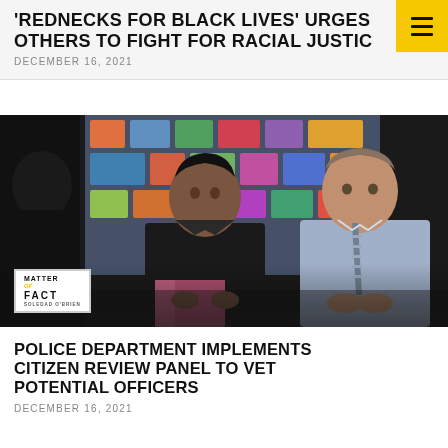'REDNECKS FOR BLACK LIVES' URGES OTHERS TO FIGHT FOR RACIAL JUSTICE
DECEMBER 16, 2021
[Figure (photo): Two men seated in conversation setting with colorful artwork in background. Left man wearing black jacket and pink pants, right man in light blue dress shirt and striped tie. Matter of Fact logo visible in lower left corner.]
POLICE DEPARTMENT IMPLEMENTS CITIZEN REVIEW PANEL TO VET POTENTIAL OFFICERS
DECEMBER 16, 2021